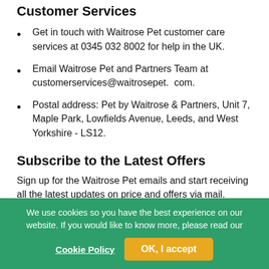Customer Services
Get in touch with Waitrose Pet customer care services at 0345 032 8002 for help in the UK.
Email Waitrose Pet and Partners Team at customerservices@waitrosepet.  com.
Postal address: Pet by Waitrose & Partners, Unit 7, Maple Park, Lowfields Avenue, Leeds, and West Yorkshire - LS12.
Subscribe to the Latest Offers
Sign up for the Waitrose Pet emails and start receiving all the latest updates on price and offers via mail.
They will keep you updated about all the latest events
We use cookies so you have the best experience on our website. If you would like to know more, please read our Cookie Policy    OK, I accept